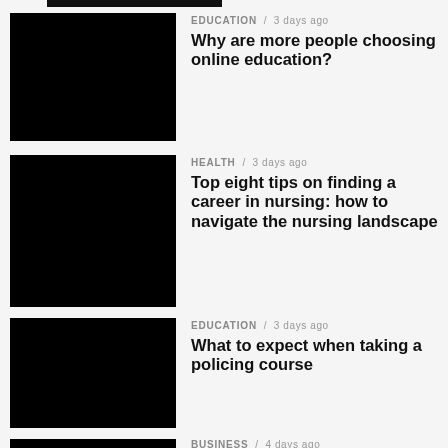[Figure (photo): Black thumbnail image for article 1 (partially visible at top)]
EDUCATION / 3 days ago
Why are more people choosing online education?
[Figure (photo): Black thumbnail image for article 2]
HEALTH / 3 days ago
Top eight tips on finding a career in nursing: how to navigate the nursing landscape
[Figure (photo): Black thumbnail image for article 3]
EDUCATION / 3 days ago
What to expect when taking a policing course
[Figure (photo): Black thumbnail image for article 4]
BUSINESS / 4 days ago
What Is Revenue Cycle Management (RCM)?
[Figure (photo): Black thumbnail image for article 5]
SPORTS / 4 days ago
VR Casinos – Metaverse Gambling